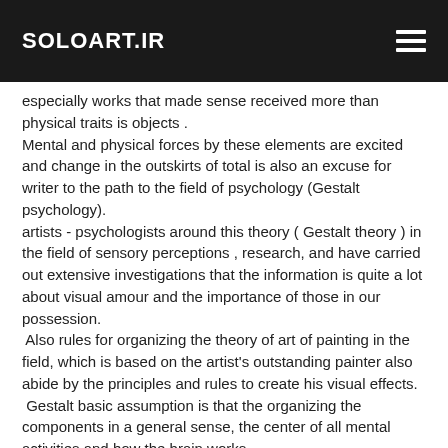SOLOART.IR
especially works that made sense received more than physical traits is objects .
Mental and physical forces by these elements are excited and change in the outskirts of total is also an excuse for writer to the path to the field of psychology (Gestalt psychology).
artists - psychologists around this theory ( Gestalt theory ) in the field of sensory perceptions , research, and have carried out extensive investigations that the information is quite a lot about visual amour and the importance of those in our possession.
Also rules for organizing the theory of art of painting in the field, which is based on the artist's outstanding painter also abide by the principles and rules to create his visual effects.
Gestalt basic assumption is that the organizing the components in a general sense, the center of all mental activities and how the brain works.
In theory, the total Gestalt by means of different from the sum of